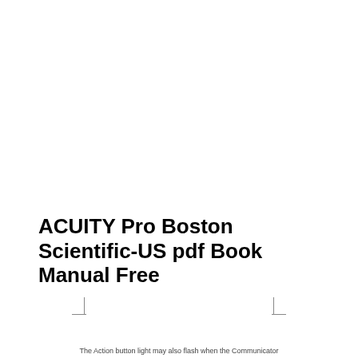ACUITY Pro Boston Scientific-US pdf Book Manual Free
The Action button light may also flash when the Communicator